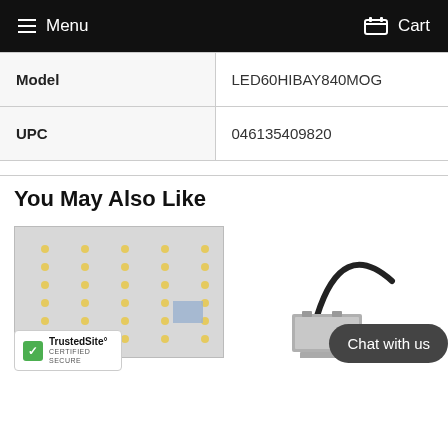Menu   Cart
| Model | LED60HIBAY840MOG |
| UPC | 046135409820 |
You May Also Like
[Figure (photo): Product image of LED panel module with LED dots arranged in grid pattern on gray background]
[Figure (photo): Product image of a rectangular LED fixture with cable attached, shown on white background]
[Figure (logo): TrustedSite Certified Secure badge with green checkmark]